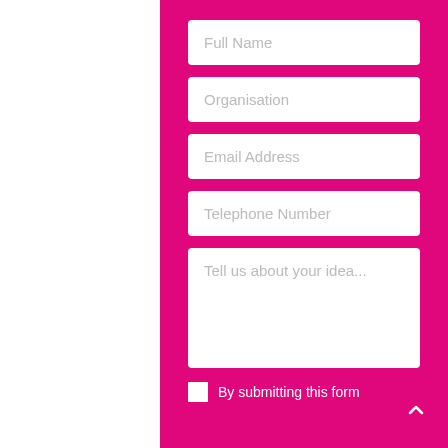[Figure (screenshot): Web contact/inquiry form on a bright pink background with white input fields for Full Name, Organisation, Email Address, Telephone Number, a textarea for 'Tell us about your idea...', a checkbox with 'By submitting this form' text, and a pink scroll-to-top button in the bottom right corner.]